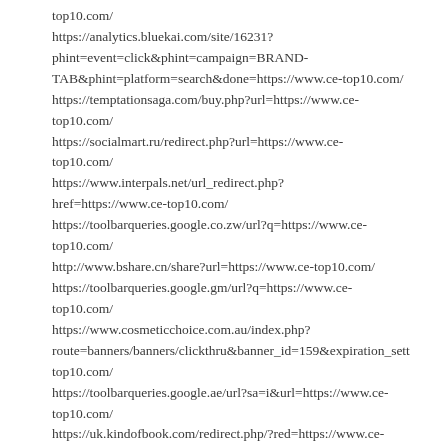top10.com/
https://analytics.bluekai.com/site/16231?phint=event=click&phint=campaign=BRAND-TAB&phint=platform=search&done=https://www.ce-top10.com/
https://temptationsaga.com/buy.php?url=https://www.ce-top10.com/
https://socialmart.ru/redirect.php?url=https://www.ce-top10.com/
https://www.interpals.net/url_redirect.php?href=https://www.ce-top10.com/
https://toolbarqueries.google.co.zw/url?q=https://www.ce-top10.com/
http://www.bshare.cn/share?url=https://www.ce-top10.com/
https://toolbarqueries.google.gm/url?q=https://www.ce-top10.com/
https://www.cosmeticchoice.com.au/index.php?route=banners/banners/clickthru&banner_id=159&expiration_sett top10.com/
https://toolbarqueries.google.ae/url?sa=i&url=https://www.ce-top10.com/
https://uk.kindofbook.com/redirect.php/?red=https://www.ce-top10.com/
https://kakaku-navi.net/items/detail.php?url=https://www.ce-top10.com/
https://www.cricbattle.com/register.aspx?